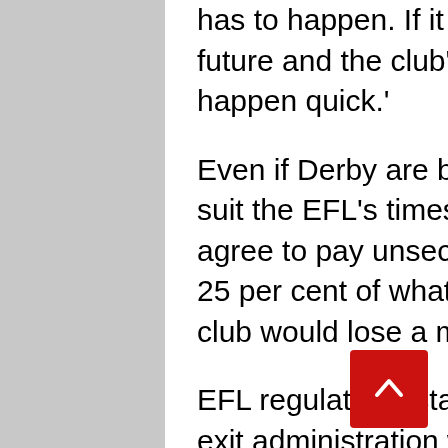has to happen. If it doesn't, I'm really unsure of my future and the club's future. This takeover has to happen quick.'
Even if Derby are brought out of administration to suit the EFL's timescales, potential buyers must agree to pay unsecured football creditors at least 25 per cent of what they are owed, otherwise the club would lose a minimum of 15 points.
EFL regulations state that where a club seeks to exit administration without paying a 'minimum dividend', a fresh points penalty is likely to be imposed. Unsecured creditors can include